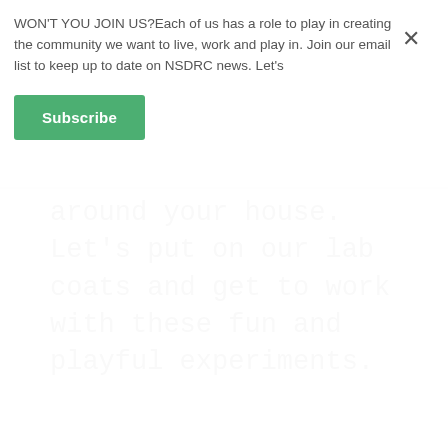WON'T YOU JOIN US?Each of us has a role to play in creating the community we want to live, work and play in. Join our email list to keep up to date on NSDRC news. Let's
[Figure (other): Green Subscribe button]
around your house. Let's put on our lab coats and get to work with these fun and playful experiments.